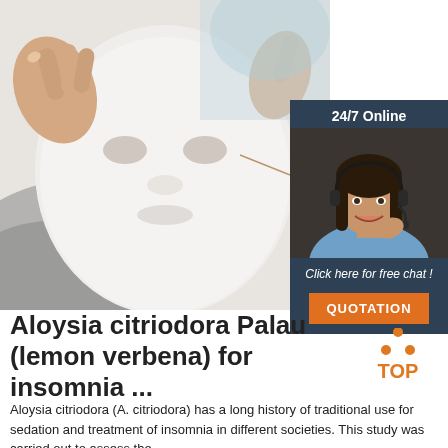[Figure (photo): Person applying a white sheet face mask, hands visible holding the mask, close-up photo with soft lighting]
[Figure (infographic): Advertisement banner with dark blue background showing '24/7 Online', a customer service agent with headset smiling, text 'Click here for free chat!', and an orange button labeled 'QUOTATION']
Aloysia citriodora Palau (lemon verbena) for insomnia ...
[Figure (logo): TOP logo with orange triangle made of dots above the word TOP in orange text]
Aloysia citriodora (A. citriodora) has a long history of traditional use for sedation and treatment of insomnia in different societies. This study was carried out to assess the